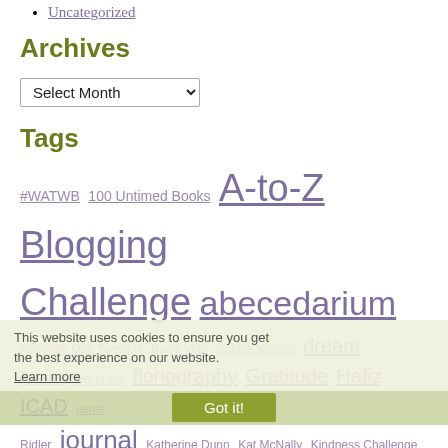Uncategorized
Archives
Select Month (dropdown)
Tags
#WATWB 100 Untimed Books A-to-Z Blogging Challenge abecedarium Artsy ville One Tuesday Bea's Velo Connie Kaplan dream dreams equinox floriography Gratitude Hafiz ICAD jamie Ridler journal Katherine Dunn Kat McNally Kindness Challenge Lori-Lyn Hurley Lori Moon May Flower Challenge love letters manifesto Mary Oliver miscellany moon peace poetry Ram Dass reverb Round 15 et Rumi Scattered Life
This website uses cookies to ensure you get the best experience on our website. Learn more
Got it!